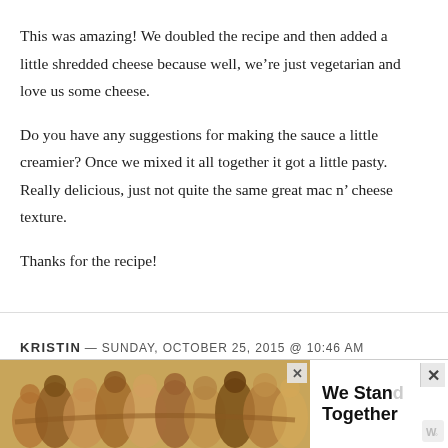This was amazing! We doubled the recipe and then added a little shredded cheese because well, we're just vegetarian and love us some cheese.
Do you have any suggestions for making the sauce a little creamier? Once we mixed it all together it got a little pasty. Really delicious, just not quite the same great mac n' cheese texture.
Thanks for the recipe!
KRISTIN — SUNDAY, OCTOBER 25, 2015 @ 10:46 AM
[Figure (other): Advertisement banner reading 'We Stand Together' with a background photo of people with arms around each other, close buttons visible]